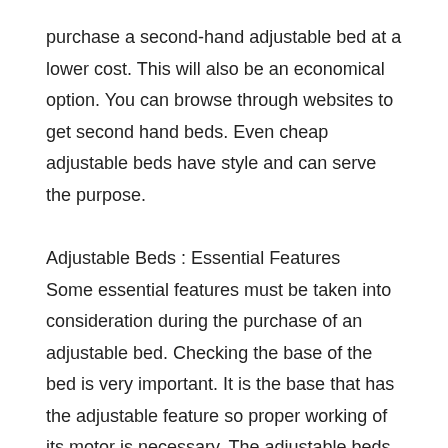purchase a second-hand adjustable bed at a lower cost. This will also be an economical option. You can browse through websites to get second hand beds. Even cheap adjustable beds have style and can serve the purpose.
Adjustable Beds : Essential Features
Some essential features must be taken into consideration during the purchase of an adjustable bed. Checking the base of the bed is very important. It is the base that has the adjustable feature so proper working of its motor is necessary. The adjustable beds of reputed lenders would assure you sealed and maintenance-free motors. This will enable your adjustable bed to be hassle-free and to have long life.
Purchasing the Adjustable Beds
While making the purchase of an adjustable bed, do not make a rash decision. Think over all the options and take time to understand them. Check whether the bed has the option of